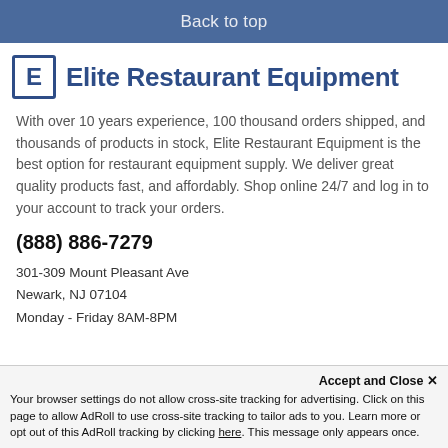Back to top
E Elite Restaurant Equipment
With over 10 years experience, 100 thousand orders shipped, and thousands of products in stock, Elite Restaurant Equipment is the best option for restaurant equipment supply. We deliver great quality products fast, and affordably. Shop online 24/7 and log in to your account to track your orders.
(888) 886-7279
301-309 Mount Pleasant Ave
Newark, NJ 07104
Monday - Friday 8AM-8PM
Accept and Close ×
Your browser settings do not allow cross-site tracking for advertising. Click on this page to allow AdRoll to use cross-site tracking to tailor ads to you. Learn more or opt out of this AdRoll tracking by clicking here. This message only appears once.